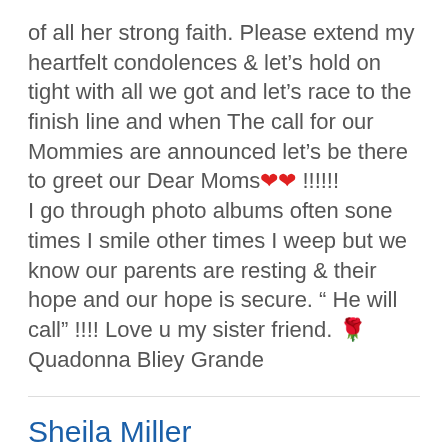of all her strong faith. Please extend my heartfelt condolences & let's hold on tight with all we got and let's race to the finish line and when The call for our Mommies are announced let's be there to greet our Dear Moms❤❤ !!!!!! I go through photo albums often sone times I smile other times I weep but we know our parents are resting & their hope and our hope is secure. " He will call" !!!! Love u my sister friend. 🌹 Quadonna Bliey Grande
Sheila Miller
February 19, 2022